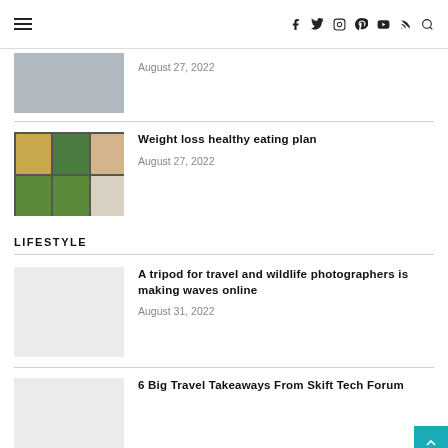☰  f  tw  ig  pi  yt  rss  🔍
August 27, 2022
Weight loss healthy eating plan
August 27, 2022
LIFESTYLE
A tripod for travel and wildlife photographers is making waves online
August 31, 2022
6 Big Travel Takeaways From Skift Tech Forum